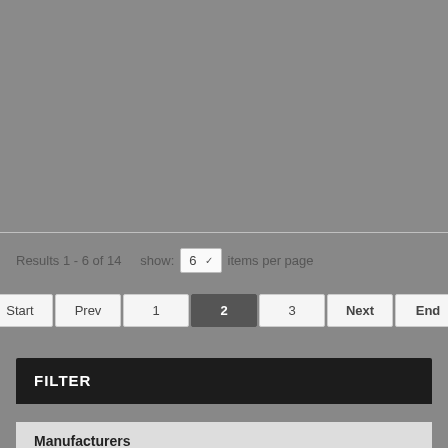[Figure (screenshot): Gray background area with faint product/image grid content, partially visible]
Results 1 - 6 of 14   show:  6  ▾  items per page
Start  Prev  1  2  3  Next  End
FILTER
Manufacturers